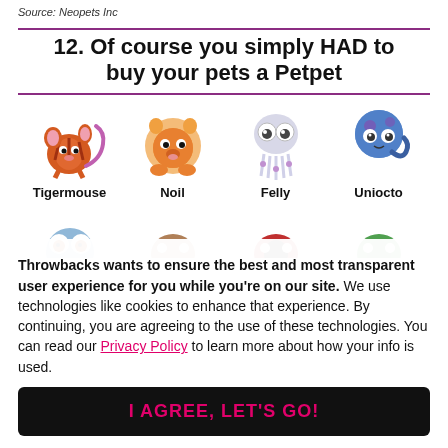Source: Neopets Inc
12. Of course you simply HAD to buy your pets a Petpet
[Figure (illustration): Grid of Neopets Petpet characters: Row 1: Tigermouse (orange/red mouse-like creature), Noil (orange lion cub), Felly (pale jellyfish), Uniocto (blue octopus/snail). Row 2: partially visible blue owl, brown creature, red/black bird, green creature.]
Throwbacks wants to ensure the best and most transparent user experience for you while you're on our site. We use technologies like cookies to enhance that experience. By continuing, you are agreeing to the use of these technologies. You can read our Privacy Policy to learn more about how your info is used.
I AGREE, LET'S GO!